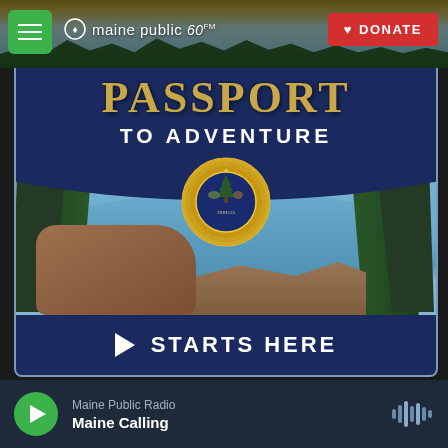maine public 60 | DONATE
[Figure (photo): Promotional image for 'Passport to Adventure Starts Here' — a Maine Public advertisement featuring a coastal Maine scene with pine trees, rocky cliffs, and ocean, overlaid with a dark navy banner reading 'PASSPORT TO ADVENTURE' in gold/white letters, a Maine state seal emblem in gold, and a navy bottom strip reading '▶ STARTS HERE']
Maine Public Radio | Maine Calling